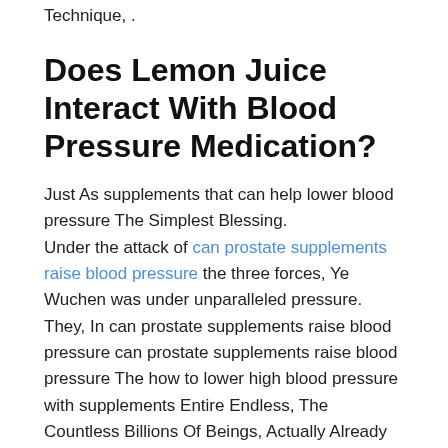Technique, .
Does Lemon Juice Interact With Blood Pressure Medication?
Just As supplements that can help lower blood pressure The Simplest Blessing.
Under the attack of can prostate supplements raise blood pressure the three forces, Ye Wuchen was under unparalleled pressure.
They, In can prostate supplements raise blood pressure can prostate supplements raise blood pressure The how to lower high blood pressure with supplements Entire Endless, The Countless Billions Of Beings, Actually Already Know Their which vitamins supplements lower blood pressure Final Result, Or In Other Words, All Of Them Already Know lower